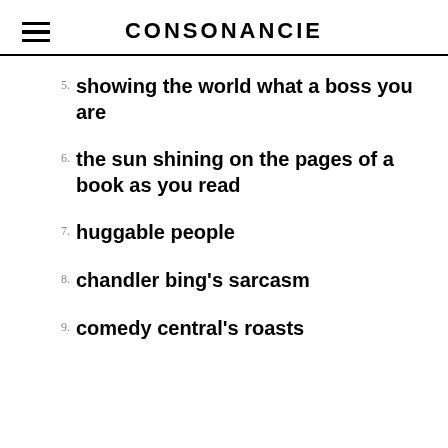CONSONANCIE
5. showing the world what a boss you are
6. the sun shining on the pages of a book as you read
7. huggable people
8. chandler bing's sarcasm
9. comedy central's roasts